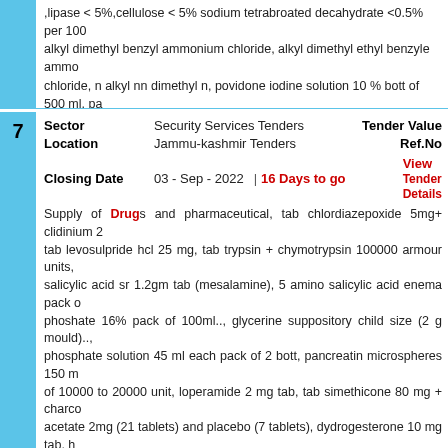,lipase < 5%,cellulose < 5% sodium tetrabroated decahydrate <0.5% per 100 alkyl dimethyl benzyl ammonium chloride, alkyl dimethyl ethyl benzyle ammonium chloride, n alkyl nn dimethyl n, povidone iodine solution 10 % bott of 500 ml, pa
| Field | Value |
| --- | --- |
| Sector | Security Services Tenders | Tender Value |  |
| Location | Jammu-kashmir Tenders | Ref.No |  |
| Closing Date | 03 - Sep - 2022 | 16 Days to go | View Tender Details |  |
Supply of Drugs and pharmaceutical, tab chlordiazepoxide 5mg+ clidinium 2, tab levosulpride hcl 25 mg, tab trypsin + chymotrypsin 100000 armour units, salicylic acid sr 1.2gm tab (mesalamine), 5 amino salicylic acid enema pack of phoshate 16% pack of 100ml.., glycerine suppository child size (2 g mould).., phosphate solution 45 ml each pack of 2 bott, pancreatin microspheres 150 m of 10000 to 20000 unit, loperamide 2 mg tab, tab simethicone 80 mg + charco acetate 2mg (21 tablets) and placebo (7 tablets), dydrogesterone 10 mg tab, h 2 ml) inj, isoxsuprine hcl 5mg/ml amp of 2 ml., laevenorgestrol 0.25 m methylergometrine maleate 0.2mg, 1 ml inj.., micronised progesterone 100 m dichloroxylenol 1% terpineol 1% phenol 0.25% in lubricant. base, conjugated metformin 1000 mg+ vildagliptin 50 mg, magnesium sulphate 50% w/v inj., tab highly purified human neutral 40iu/ml, 10 ml inj, tab metformin 500 mg + vilda ml inj., protien supplement formula for renal failure patients, tab sevelamear 4 ml, eye drop. chlorampnenicol 0.5% + dexamethasone sodium 0.1%, cy cyclosporine eye drop 0.05% bott of 5 ml, flurbiprofen sodium ophthalmic sol gentamicin base with hydrocortisone acetate ip 1% w/v eye & ear drops bott o travoprost 0.004% bott of 2.5 ml, lignocaine hyrochloride 4% topical solution b